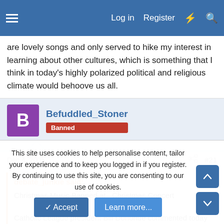Log in  Register
are lovely songs and only served to hike my interest in learning about other cultures, which is something that I think in today's highly polarized political and religious climate would behoove us all.
Befuddled_Stoner
Banned
Dec 4, 2005
#21
debate_junkie said:
Christmas Music Banned at...Christmas Concert

Catholic League president Bill Donohue commented today on the decision by Florida Gulf Coast University (FGCU) to ban Christmas
This site uses cookies to help personalise content, tailor your experience and to keep you logged in if you register.
By continuing to use this site, you are consenting to our use of cookies.
Accept  Learn more...